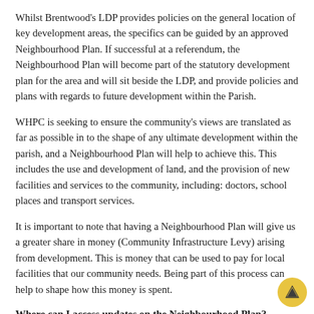Whilst Brentwood's LDP provides policies on the general location of key development areas, the specifics can be guided by an approved Neighbourhood Plan. If successful at a referendum, the Neighbourhood Plan will become part of the statutory development plan for the area and will sit beside the LDP, and provide policies and plans with regards to future development within the Parish.
WHPC is seeking to ensure the community's views are translated as far as possible in to the shape of any ultimate development within the parish, and a Neighbourhood Plan will help to achieve this. This includes the use and development of land, and the provision of new facilities and services to the community, including: doctors, school places and transport services.
It is important to note that having a Neighbourhood Plan will give us a greater share in money (Community Infrastructure Levy) arising from development. This is money that can be used to pay for local facilities that our community needs. Being part of this process can help to shape how this money is spent.
Where can I access updates on the Neighbourhood Plan?
Key updates will be posted on the Parish Council website, community message boards and social media.  The plan will also be regularly discussed at the Parish Council's regular monthly meetings which are open to the public.